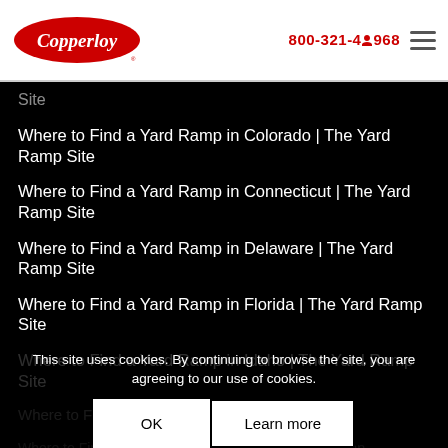[Figure (logo): Copperloy logo - red oval with white cursive text]
800-321-4968
Site
Where to Find a Yard Ramp in Colorado | The Yard Ramp Site
Where to Find a Yard Ramp in Connecticut | The Yard Ramp Site
Where to Find a Yard Ramp in Delaware | The Yard Ramp Site
Where to Find a Yard Ramp in Florida | The Yard Ramp Site
Where to Find a Yard Ramp in Idaho | The Yard Ramp Site
Where to Find a Yard Ramp in Iowa
Where to Find a Yard Ramp in Kansas | The Yard Ramp Site
Site
Where to Find a Yard Ramp in Kentucky | The Yard Ramp Site
Site
This site uses cookies. By continuing to browse the site, you are agreeing to our use of cookies.
OK
Learn more